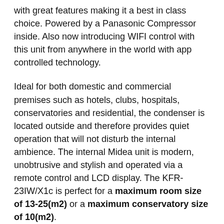with great features making it a best in class choice. Powered by a Panasonic Compressor inside. Also now introducing WIFI control with this unit from anywhere in the world with app controlled technology.
Ideal for both domestic and commercial premises such as hotels, clubs, hospitals, conservatories and residential, the condenser is located outside and therefore provides quiet operation that will not disturb the internal ambience. The internal Midea unit is modern, unobtrusive and stylish and operated via a remote control and LCD display. The KFR-23IW/X1c is perfect for a maximum room size of 13-25(m2) or a maximum conservatory size of 10(m2).
The unit provides double value as it also runs as a heat pump - so providing cooling in summer and